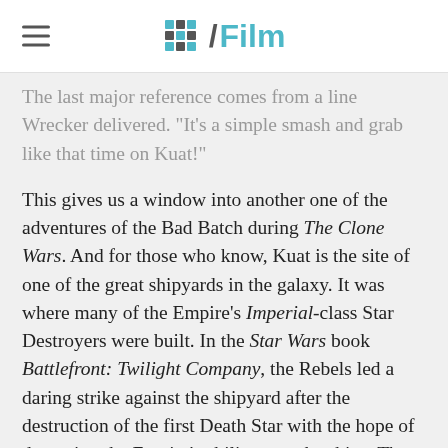/Film
The last major reference comes from a line Wrecker delivered. "It's a simple smash and grab like that time on Kuat!"
This gives us a window into another one of the adventures of the Bad Batch during The Clone Wars. And for those who know, Kuat is the site of one of the great shipyards in the galaxy. It was where many of the Empire's Imperial-class Star Destroyers were built. In the Star Wars book Battlefront: Twilight Company, the Rebels led a daring strike against the shipyard after the destruction of the first Death Star with the hope of damaging the Empire's ability to make ships. The attempt was well-intentioned, but ultimately had little impact in the war. During The